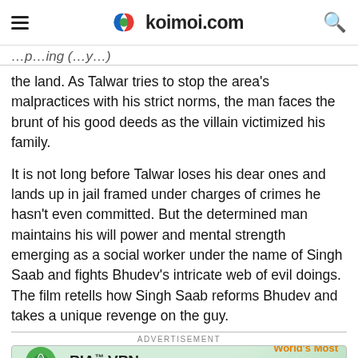koimoi.com
the land. As Talwar tries to stop the area's malpractices with his strict norms, the man faces the brunt of his good deeds as the villain victimized his family.
It is not long before Talwar loses his dear ones and lands up in jail framed under charges of crimes he hasn't even committed. But the determined man maintains his will power and mental strength emerging as a social worker under the name of Singh Saab and fights Bhudev's intricate web of evil doings. The film retells how Singh Saab reforms Bhudev and takes a unique revenge on the guy.
[Figure (other): PIA VPN advertisement banner - World's Most Trusted VPN]
ADVERTISEMENT